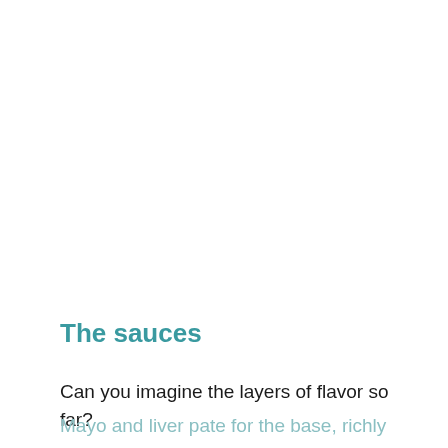The sauces
Can you imagine the layers of flavor so far?
Mayo and liver pate for the base, richly flavored meat, pickled vegetables and herb. You top all